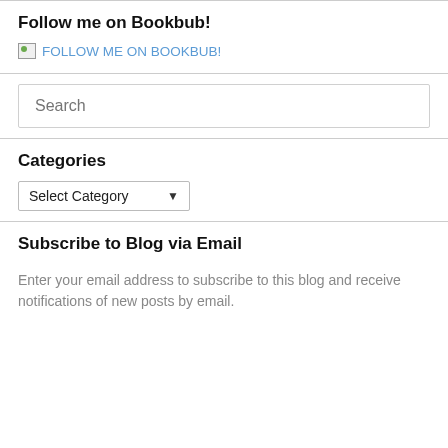Follow me on Bookbub!
[Figure (other): Broken image placeholder with FOLLOW ME ON BOOKBUB! link text in blue]
Categories
Select Category (dropdown)
Subscribe to Blog via Email
Enter your email address to subscribe to this blog and receive notifications of new posts by email.